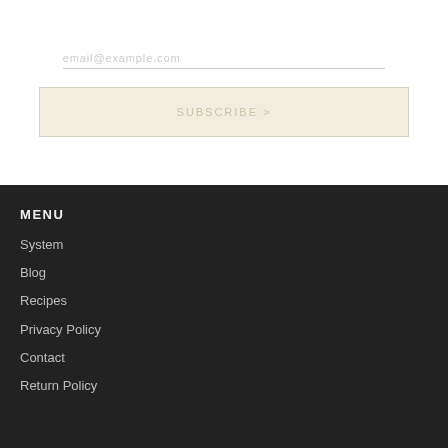[Figure (screenshot): Email input field with placeholder text 'email@example.com' and a subscribe button on a white background]
MENU
System
Blog
Recipes
Privacy Policy
Contact
Return Policy